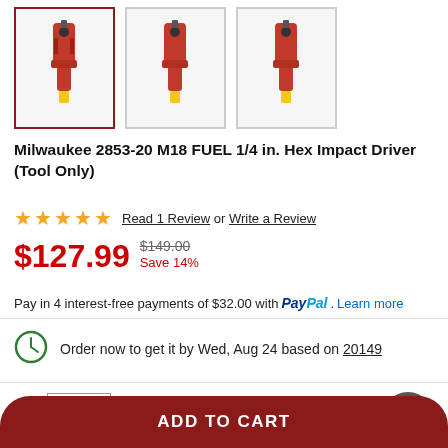[Figure (photo): Three product thumbnail images of Milwaukee 2853-20 M18 FUEL 1/4 in. Hex Impact Driver, first image selected with red border]
Milwaukee 2853-20 M18 FUEL 1/4 in. Hex Impact Driver (Tool Only)
★★★★★ Read 1 Review or Write a Review
$127.99  $149.00  Save 14%
Pay in 4 interest-free payments of $32.00 with PayPal. Learn more
Order now to get it by Wed, Aug 24 based on 20149
Qty  1  In Stock
ADD TO CART